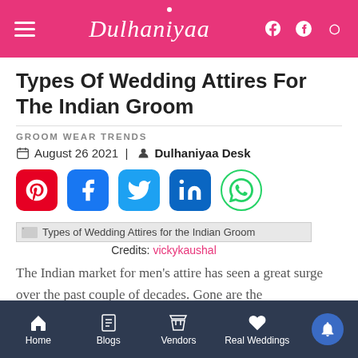Dulhaniyaa
Types Of Wedding Attires For The Indian Groom
GROOM WEAR TRENDS
August 26 2021 | Dulhaniyaa Desk
[Figure (infographic): Social sharing icons: Pinterest, Facebook, Twitter, LinkedIn, WhatsApp]
[Figure (photo): Types of Wedding Attires for the Indian Groom — image placeholder. Credits: vickykaushal]
Credits: vickykaushal
The Indian market for men's attire has seen a great surge over the past couple of decades. Gone are the
Home   Blogs   Vendors   Real Weddings